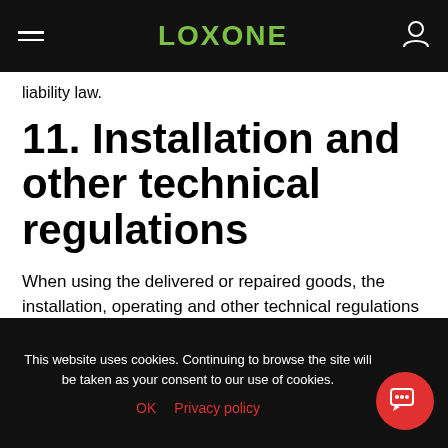LOXONE
liability law.
11. Installation and other technical regulations
When using the delivered or repaired goods, the installation, operating and other technical regulations and instructions must be strictly observed. In particular, Loxone does not assume any liability for damages of any kind that arise
This website uses cookies. Continuing to browse the site will be taken as your consent to our use of cookies. OK  Privacy policy